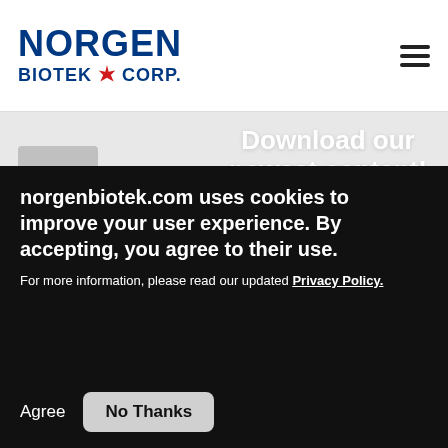[Figure (logo): Norgen Biotek Corp logo with maple leaf, blue text]
[Figure (screenshot): Website screenshot showing 'Download our newest content!' banner with For Research Use button and blue background with Infographics, e-books & more! text]
[Figure (screenshot): Follow us section with social media icons (Facebook, Twitter, Instagram, YouTube, LinkedIn) on dark blue background]
norgenbiotek.com uses cookies to improve your user experience. By accepting, you agree to their use.
For more information, please read our updated Privacy Policy.
Agree
No Thanks